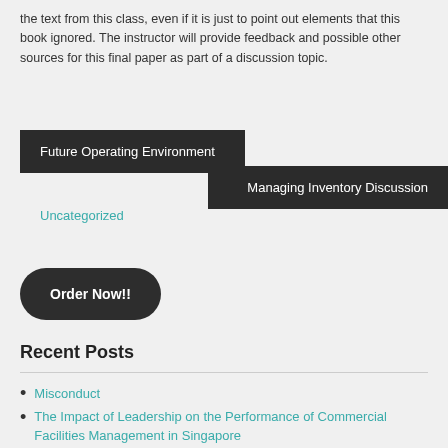the text from this class, even if it is just to point out elements that this book ignored. The instructor will provide feedback and possible other sources for this final paper as part of a discussion topic.
Uncategorized
Future Operating Environment
Managing Inventory Discussion
Order Now!!
Recent Posts
Misconduct
The Impact of Leadership on the Performance of Commercial Facilities Management in Singapore